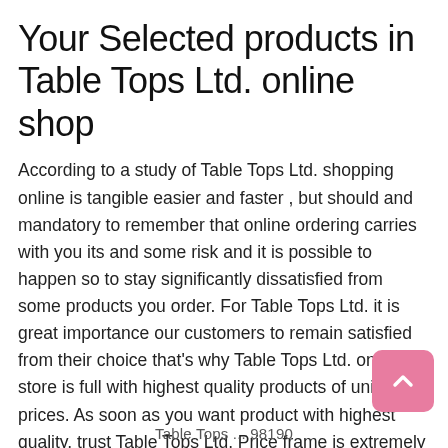Your Selected products in Table Tops Ltd. online shop
According to a study of Table Tops Ltd. shopping online is tangible easier and faster , but should and mandatory to remember that online ordering carries with you its and some risk and it is possible to happen so to stay significantly dissatisfied from some products you order. For Table Tops Ltd. it is great importance our customers to remain satisfied from their choice that’s why Table Tops Ltd. online store is full with highest quality products of unique prices. As soon as you want product with highest quality, trust Table Tops Ltd. Price frame is extremely important at purchase at all more products nowadays , for this reason we from Table Tops Ltd. separate attention to consider the price of our products with our clients . Table Tops Ltd. products on the internet will certainly satisfy all the expectations, and even they will certainly outperform the
Table Tops ... 98190